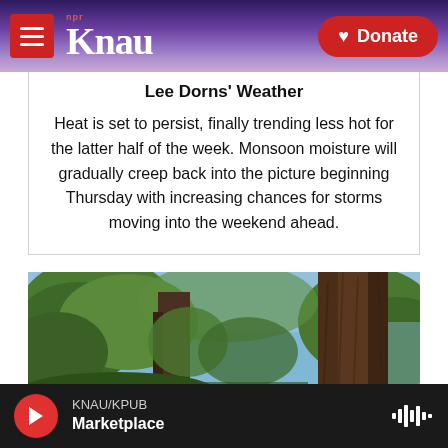KNAU NPR — Donate
Lee Dorns' Weather
Heat is set to persist, finally trending less hot for the latter half of the week. Monsoon moisture will gradually creep back into the picture beginning Thursday with increasing chances for storms moving into the weekend ahead.
[Figure (photo): Photograph of pine trees with green foliage and tree bark visible, blue sky in background]
KNAU/KPUB Marketplace